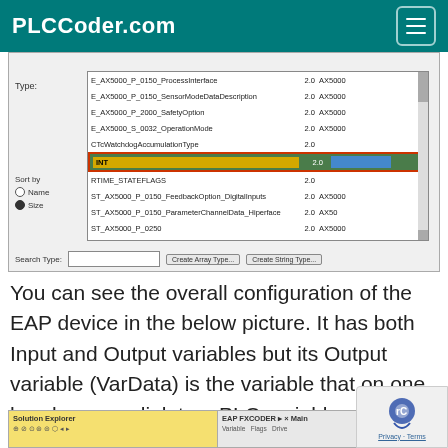PLCCoder.com
[Figure (screenshot): A software dialog showing a type selection list with entries like E_AX5000_P_0150_ProcessInterface, E_AX5000_P_0150_SensorModeDataDescription, E_AX5000_P_2000_SafetyOption, E_AX5000_S_0032_OperationMode, CTcWatchdogAccumulationType, INT (highlighted in green with red border and blue bar), RTIME_STATEFLAGS, ST_AX5000_P_0150_FeedbackOption_DigitalInputs, ST_AX5000_P_0150_ParameterChannelData_Hiperface, ST_AX5000_P_0250, ST_AX5000_P_0251_Logic, ST_AX5000_P_0251_Mix, ST_AX5000_P_0275, ST_AX5000_P_0350. Sort by Name/Size radio buttons. Search Type input with Create Array Type and Create String Type buttons.]
You can see the overall configuration of the EAP device in the below picture. It has both Input and Output variables but its Output variable (VarData) is the variable that on one hand, we can link to a PLC variable and on the other hand can be Subscribed/received by subscribers.
[Figure (screenshot): Bottom strip showing Solution Explorer and EAP FXCODER Main window with Variable, Flags, Drive columns.]